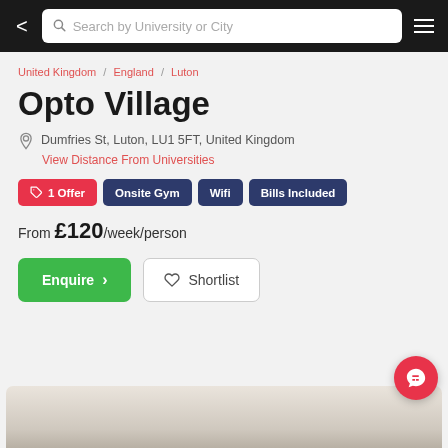Search by University or City
United Kingdom / England / Luton
Opto Village
Dumfries St, Luton, LU1 5FT, United Kingdom
View Distance From Universities
1 Offer
Onsite Gym
Wifi
Bills Included
From £120/week/person
Enquire
Shortlist
[Figure (photo): Interior room photo at the bottom of the page]